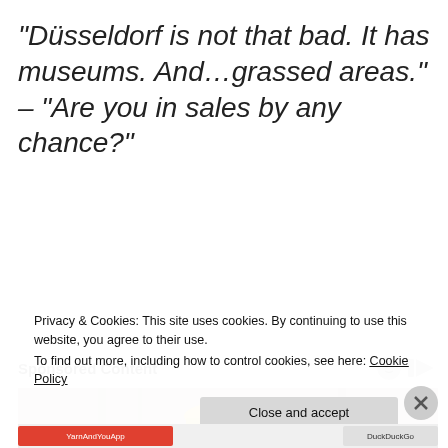“Düsseldorf is not that bad. It has museums. And…grassed areas.” – “Are you in sales by any chance?”
Sponsored Content
[Figure (photo): Construction worker wearing a yellow hard hat, viewed from slightly below, with a blurred industrial background]
Privacy & Cookies: This site uses cookies. By continuing to use this website, you agree to their use.
To find out more, including how to control cookies, see here: Cookie Policy
Close and accept